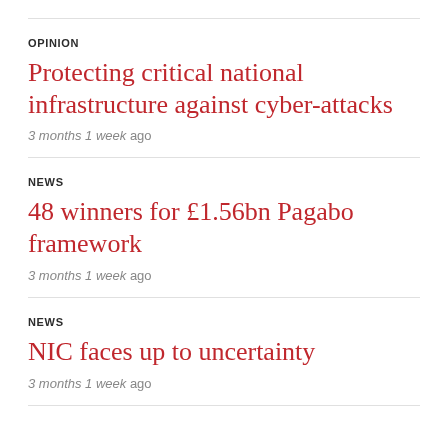OPINION
Protecting critical national infrastructure against cyber-attacks
3 months 1 week ago
NEWS
48 winners for £1.56bn Pagabo framework
3 months 1 week ago
NEWS
NIC faces up to uncertainty
3 months 1 week ago